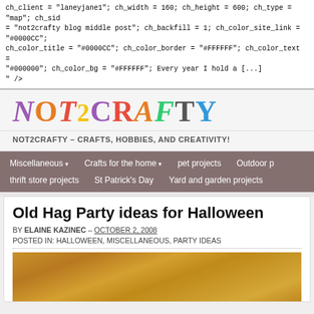ch_client = "laneyjane1"; ch_width = 160; ch_height = 600; ch_type = "map"; ch_sid = "not2crafty blog middle post"; ch_backfill = 1; ch_color_site_link = "#0000CC"; ch_color_title = "#0000CC"; ch_color_border = "#FFFFFF"; ch_color_text = "#000000"; ch_color_bg = "#FFFFFF"; Every year I hold a [...]
" />
[Figure (logo): NOT2CRAFTY colorful logo text]
NOT2CRAFTY – CRAFTS, HOBBIES, AND CREATIVITY!
Miscellaneous ▾  Crafts for the home ▾  pet projects  Outdoor p  thrift store projects  St Patrick's Day  Yard and garden projects
Old Hag Party ideas for Halloween
BY ELAINE KAZINEC – OCTOBER 2, 2008
POSTED IN: HALLOWEEN, MISCELLANEOUS, PARTY IDEAS
[Figure (photo): Partially visible photo showing wooden background with orange/brown tones]